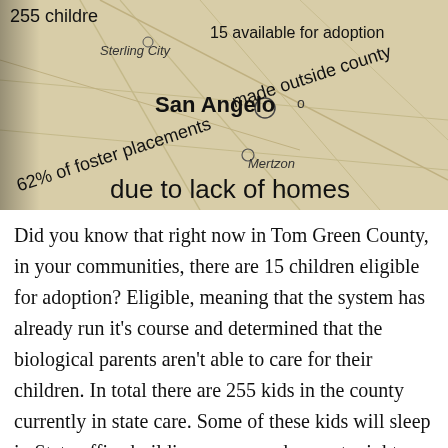[Figure (map): A vintage-style tan/sepia map showing San Angelo area with overlaid text statistics: '255 children', 'Sterling City', '15 available for adoption', 'San Angelo' (bold), '62% of foster placements made outside county', 'Mertzon', 'due to lack of homes']
Did you know that right now in Tom Green County, in your communities, there are 15 children eligible for adoption? Eligible, meaning that the system has already run it's course and determined that the biological parents aren't able to care for their children. In total there are 255 kids in the county currently in state care. Some of these kids will sleep in State office buildings or group homes tonight because there are